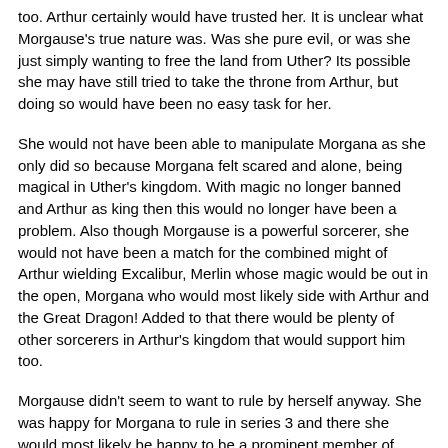too. Arthur certainly would have trusted her. It is unclear what Morgause's true nature was. Was she pure evil, or was she just simply wanting to free the land from Uther? Its possible she may have still tried to take the throne from Arthur, but doing so would have been no easy task for her.
She would not have been able to manipulate Morgana as she only did so because Morgana felt scared and alone, being magical in Uther's kingdom. With magic no longer banned and Arthur as king then this would no longer have been a problem. Also though Morgause is a powerful sorcerer, she would not have been a match for the combined might of Arthur wielding Excalibur, Merlin whose magic would be out in the open, Morgana who would most likely side with Arthur and the Great Dragon! Added to that there would be plenty of other sorcerers in Arthur's kingdom that would support him too.
Morgause didn't seem to want to rule by herself anyway. She was happy for Morgana to rule in series 3 and there she would most likely be happy to be a prominent member of Arthur's court which she most certainly would be in his new kingdom.